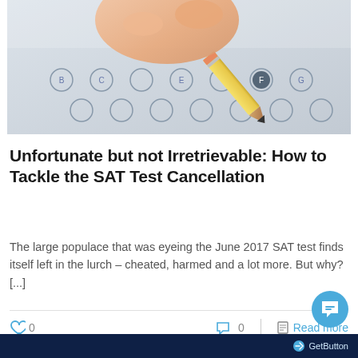[Figure (photo): Close-up photo of a hand holding a pencil filling in bubbles on a multiple-choice answer sheet (SAT/standardized test bubble sheet)]
Unfortunate but not Irretrievable: How to Tackle the SAT Test Cancellation
The large populace that was eyeing the June 2017 SAT test finds itself left in the lurch – cheated, harmed and a lot more. But why? [...]
GetButton